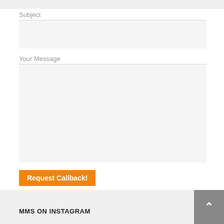Subject
[Figure (other): Subject input field (empty text input box with light gray background)]
Your Message
[Figure (other): Your Message textarea (large empty text area with light gray background)]
Request Callback!
MMS ON INSTAGRAM